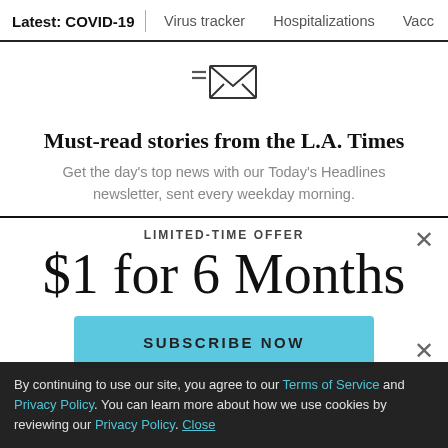Latest: COVID-19 | Virus tracker | Hospitalizations | Vacci
[Figure (illustration): Email newsletter icon: lines and envelope symbol]
Must-read stories from the L.A. Times
Get the day's top news with our Today's Headlines newsletter, sent every weekday morning.
LIMITED-TIME OFFER
$1 for 6 Months
SUBSCRIBE NOW
By continuing to use our site, you agree to our Terms of Service and Privacy Policy. You can learn more about how we use cookies by reviewing our Privacy Policy. Close